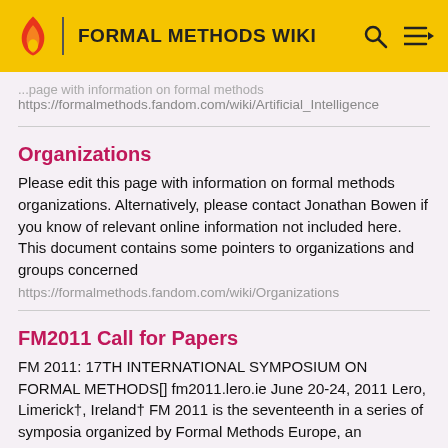FORMAL METHODS WIKI
https://formalmethods.fandom.com/wiki/Artificial_Intelligence
Organizations
Please edit this page with information on formal methods organizations. Alternatively, please contact Jonathan Bowen if you know of relevant online information not included here. This document contains some pointers to organizations and groups concerned
https://formalmethods.fandom.com/wiki/Organizations
FM2011 Call for Papers
FM 2011: 17TH INTERNATIONAL SYMPOSIUM ON FORMAL METHODS[] fm2011.lero.ie June 20-24, 2011 Lero, Limerick†, Ireland† FM 2011 is the seventeenth in a series of symposia organized by Formal Methods Europe, an independent
https://formalmethods.fandom.com/wiki/FM2011_Call_for_Pape